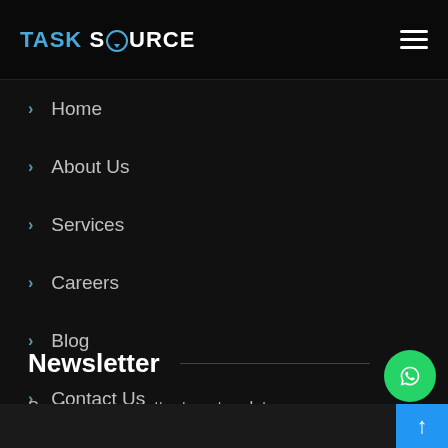TASK SOURCE
Home
About Us
Services
Careers
Blog
Contact Us
Newsletter
Send us a newsletter to get update